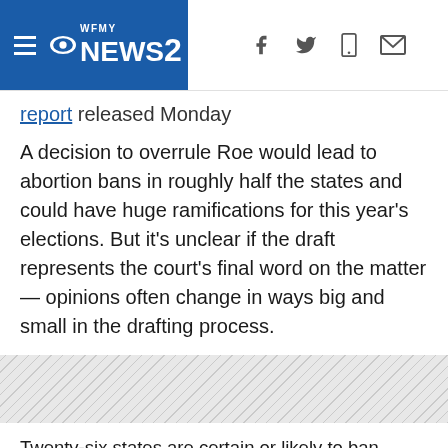WFMY NEWS 2
report released Monday
A decision to overrule Roe would lead to abortion bans in roughly half the states and could have huge ramifications for this year's elections. But it's unclear if the draft represents the court's final word on the matter — opinions often change in ways big and small in the drafting process.
Twenty-six states are certain or likely to ban abortion if Roe v. Wade is overturned, according to the pro-abortion rights think tank the Guttmacher Institute. Of those, 22 states already have total or near-total bans on the books that are currently blocked by Roe, aside from Texas. The state's law banning it after six weeks has already been allowed to go into effect by the Supreme Court due to its unusual civil